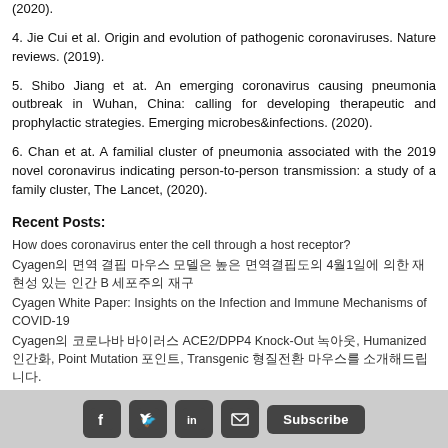(2020).
4. Jie Cui et al. Origin and evolution of pathogenic coronaviruses. Nature reviews. (2019).
5. Shibo Jiang et at. An emerging coronavirus causing pneumonia outbreak in Wuhan, China: calling for developing therapeutic and prophylactic strategies. Emerging microbes&infections. (2020).
6. Chan et at. A familial cluster of pneumonia associated with the 2019 novel coronavirus indicating person-to-person transmission: a study of a family cluster, The Lancet, (2020).
Recent Posts:
How does coronavirus enter the cell through a host receptor?
Cyagen의 면역 결핍 마우스 모델은 높은 면역결핍도의 4월1일에 의한 재현성 있는 인간 B 세포주의 재구
Cyagen White Paper: Insights on the Infection and Immune Mechanisms of COVID-19
Cyagen의 코로나바 바이러스 ACE2/DPP4 Knock-Out 녹아웃, Humanized 인간화, Point Mutation 포인트, Transgenic 형질전환 마우스를 소개해드립니다.
Social media icons and Subscribe button